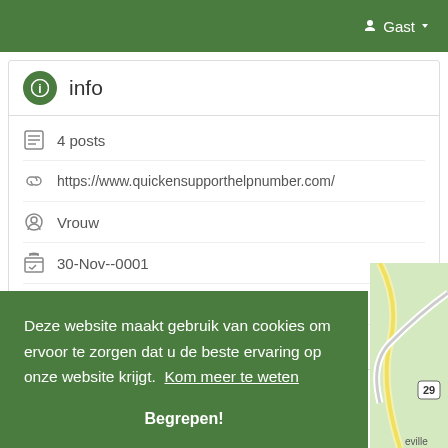Gast
info
4 posts
https://www.quickensupporthelpnumber.com/
Vrouw
30-Nov--0001
Leven in United States
Gelegen in johns creek
Deze website maakt gebruik van cookies om ervoor te zorgen dat u de beste ervaring op onze website krijgt.  Kom meer te weten
Begrepen!
[Figure (map): Partial map image showing roads near Johns Creek area with route 29 marker visible]